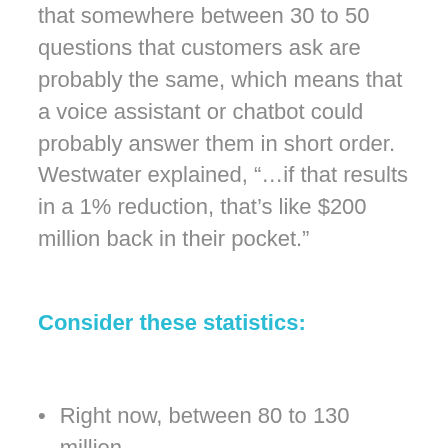that somewhere between 30 to 50 questions that customers ask are probably the same, which means that a voice assistant or chatbot could probably answer them in short order. Westwater explained, “…if that results in a 1% reduction, that’s like $200 million back in their pocket.”
Consider these statistics:
Right now, between 80 to 130 million